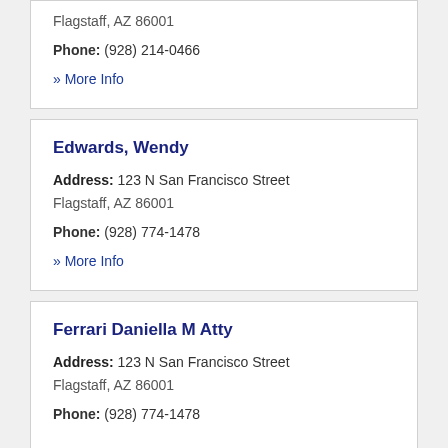Flagstaff, AZ 86001
Phone: (928) 214-0466
» More Info
Edwards, Wendy
Address: 123 N San Francisco Street
Flagstaff, AZ 86001
Phone: (928) 774-1478
» More Info
Ferrari Daniella M Atty
Address: 123 N San Francisco Street
Flagstaff, AZ 86001
Phone: (928) 774-1478